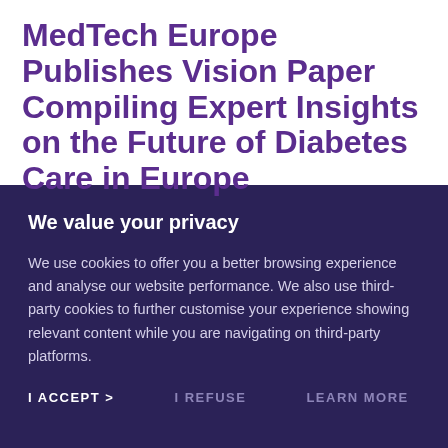MedTech Europe Publishes Vision Paper Compiling Expert Insights on the Future of Diabetes Care in Europe
We value your privacy
We use cookies to offer you a better browsing experience and analyse our website performance. We also use third-party cookies to further customise your experience showing relevant content while you are navigating on third-party platforms.
I ACCEPT > | I REFUSE | LEARN MORE